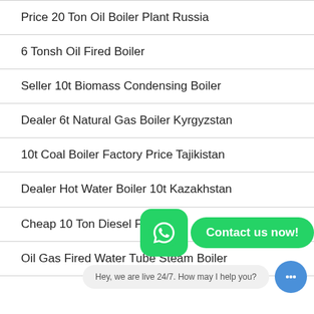Price 20 Ton Oil Boiler Plant Russia
6 Tonsh Oil Fired Boiler
Seller 10t Biomass Condensing Boiler
Dealer 6t Natural Gas Boiler Kyrgyzstan
10t Coal Boiler Factory Price Tajikistan
Dealer Hot Water Boiler 10t Kazakhstan
Cheap 10 Ton Diesel Fired Br
Oil Gas Fired Water Tube Steam Boiler
[Figure (infographic): WhatsApp contact button overlay with green WhatsApp icon and 'Contact us now!' green pill button]
Hey, we are live 24/7. How may I help you?